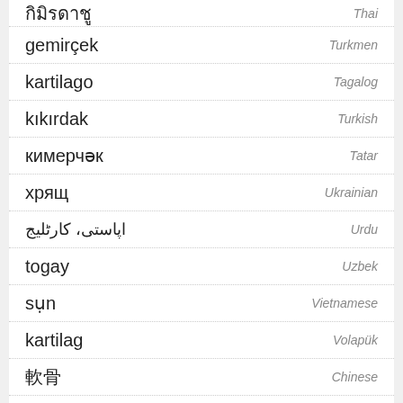кимирдашу — Thai
gemirçek — Turkmen
kartilago — Tagalog
kıkırdak — Turkish
кимерчәк — Tatar
хрящ — Ukrainian
اپاستی، کارٹلیج — Urdu
togay — Uzbek
sụn — Vietnamese
kartilag — Volapük
軟骨 — Chinese